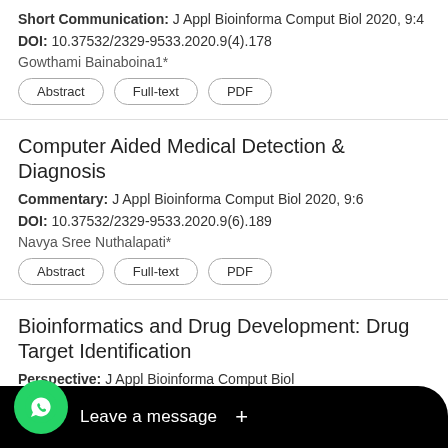Short Communication: J Appl Bioinforma Comput Biol 2020, 9:4
DOI: 10.37532/2329-9533.2020.9(4).178
Gowthami Bainaboina1*
Computer Aided Medical Detection & Diagnosis
Commentary: J Appl Bioinforma Comput Biol 2020, 9:6
DOI: 10.37532/2329-9533.2020.9(6).189
Navya Sree Nuthalapati*
Bioinformatics and Drug Development: Drug Target Identification
Perspective: J Appl Bioinforma Comput Biol
DOI:
...dre Calimeri